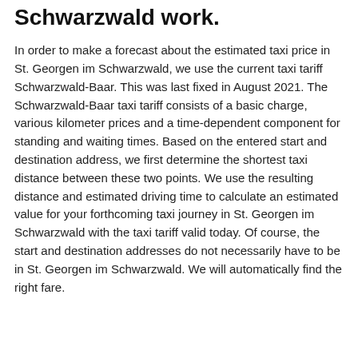Schwarzwald work.
In order to make a forecast about the estimated taxi price in St. Georgen im Schwarzwald, we use the current taxi tariff Schwarzwald-Baar. This was last fixed in August 2021. The Schwarzwald-Baar taxi tariff consists of a basic charge, various kilometer prices and a time-dependent component for standing and waiting times. Based on the entered start and destination address, we first determine the shortest taxi distance between these two points. We use the resulting distance and estimated driving time to calculate an estimated value for your forthcoming taxi journey in St. Georgen im Schwarzwald with the taxi tariff valid today. Of course, the start and destination addresses do not necessarily have to be in St. Georgen im Schwarzwald. We will automatically find the right fare.